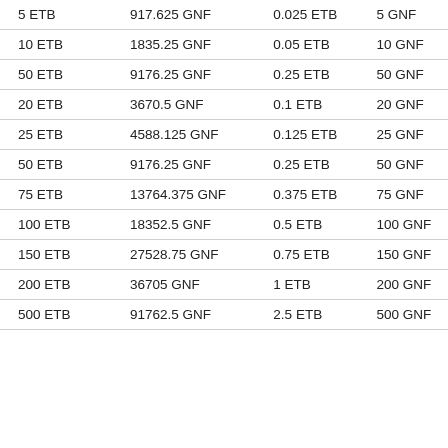| 5 ETB | 917.625 GNF | 0.025 ETB | 5 GNF |
| 10 ETB | 1835.25 GNF | 0.05 ETB | 10 GNF |
| 50 ETB | 9176.25 GNF | 0.25 ETB | 50 GNF |
| 20 ETB | 3670.5 GNF | 0.1 ETB | 20 GNF |
| 25 ETB | 4588.125 GNF | 0.125 ETB | 25 GNF |
| 50 ETB | 9176.25 GNF | 0.25 ETB | 50 GNF |
| 75 ETB | 13764.375 GNF | 0.375 ETB | 75 GNF |
| 100 ETB | 18352.5 GNF | 0.5 ETB | 100 GNF |
| 150 ETB | 27528.75 GNF | 0.75 ETB | 150 GNF |
| 200 ETB | 36705 GNF | 1 ETB | 200 GNF |
| 500 ETB | 91762.5 GNF | 2.5 ETB | 500 GNF |